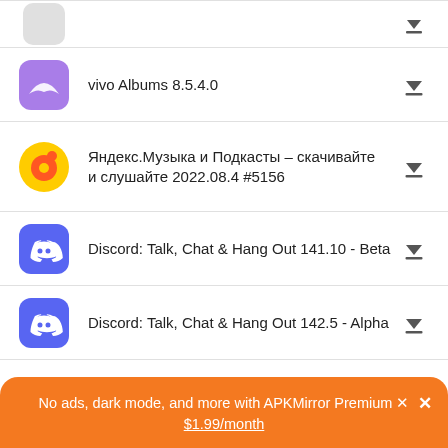[Figure (screenshot): APKMirror app listing screenshot showing several app rows with icons, names, and download buttons]
vivo Albums 8.5.4.0
Яндекс.Музыка и Подкасты – скачивайте и слушайте 2022.08.4 #5156
Discord: Talk, Chat & Hang Out 141.10 - Beta
Discord: Talk, Chat & Hang Out 142.5 - Alpha
Google TV 4.33.60.17
No ads, dark mode, and more with APKMirror Premium × $1.99/month